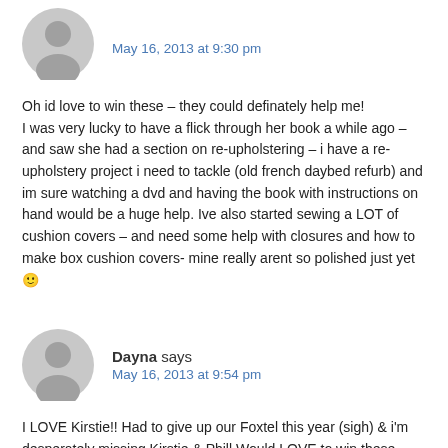May 16, 2013 at 9:30 pm
Oh id love to win these – they could definately help me! I was very lucky to have a flick through her book a while ago – and saw she had a section on re-upholstering – i have a re-upholstery project i need to tackle (old french daybed refurb) and im sure watching a dvd and having the book with instructions on hand would be a huge help. Ive also started sewing a LOT of cushion covers – and need some help with closures and how to make box cushion covers- mine really arent so polished just yet 🙂
Dayna says
May 16, 2013 at 9:54 pm
I LOVE Kirstie!! Had to give up our Foxtel this year (sigh) & i'm desperately missing Kirstie & Phill Would LOVE to win these dvds !!